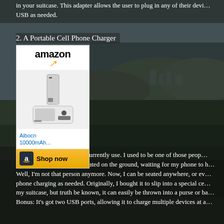in your suitcase. This adapter allows the user to plug in any of their devices into USB as needed.
2.  A Portable Cell Phone Charger
[Figure (screenshot): Amazon product widget showing Aibocn 10000mAh portable charger with Shop now button]
This is the exact one that I currently use.   I used to be one of those people in the halls of the airport, seated on the ground, waiting for my phone to h... Well, I'm not that person anymore.  Now, I can be seated anywhere, or ev... phone charging as needed.  Originally, I bought it to slip into a special ce... my suitcase, but truth be known, it can easily be thrown into a purse or ba... Bonus:  It's got two USB ports, allowing it to charge multiple devices at a...